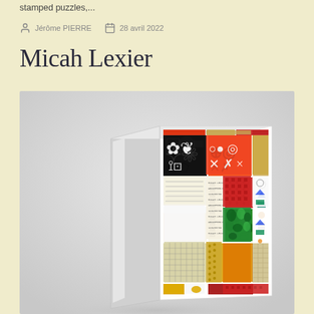stamped puzzles,...
Jérôme PIERRE  28 avril 2022
Micah Lexier
[Figure (photo): A colorful puzzle box featuring a grid of various textures and patterns including bold black shapes, orange, red, blue, green and beige tiles arranged in a mosaic layout on a white box]